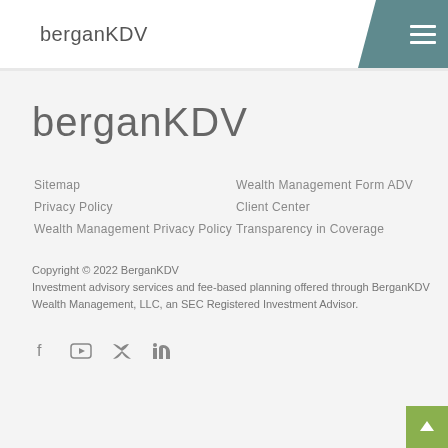berganKDV
[Figure (logo): berganKDV large logo text in light grey]
Sitemap
Privacy Policy
Wealth Management Privacy Policy
Wealth Management Form ADV
Client Center
Transparency in Coverage
Copyright © 2022 BerganKDV
Investment advisory services and fee-based planning offered through BerganKDV Wealth Management, LLC, an SEC Registered Investment Advisor.
[Figure (illustration): Social media icons: Facebook, YouTube, Twitter, LinkedIn]